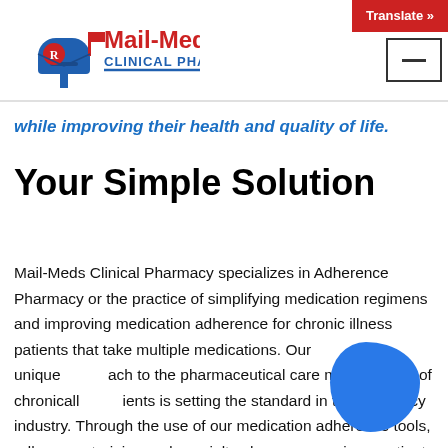[Figure (logo): Mail-Meds Clinical Pharmacy logo with mailbox illustration and red/blue text]
Translate »
while improving their health and quality of life.
Your Simple Solution
Mail-Meds Clinical Pharmacy specializes in Adherence Pharmacy or the practice of simplifying medication regimens and improving medication adherence for chronic illness patients that take multiple medications. Our unique approach to the pharmaceutical care management of chronically ill patients is setting the standard in the pharmacy industry. Through the use of our medication adherence tools, adherence training and specialty pharmacy services, patients are empowered to